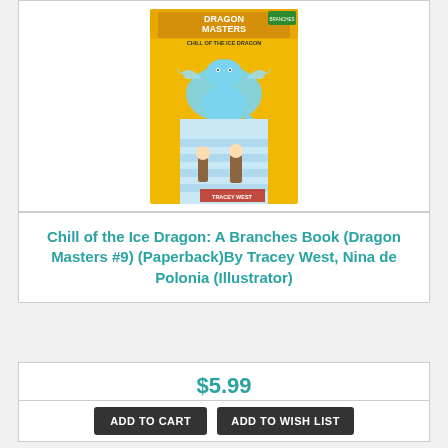[Figure (illustration): Book cover of 'Dragon Masters: Chill of the Ice Dragon' - yellow background with a blue ice dragon and two children characters, text 'DRAGON MASTERS CHILL OF THE ICE DRAGON' and 'TRACEY WEST' on cover]
Chill of the Ice Dragon: A Branches Book (Dragon Masters #9) (Paperback)By Tracey West, Nina de Polonia (Illustrator)
$5.99
ADD TO CART  ADD TO WISH LIST
Usually Ships in 1-5 Days
[Figure (illustration): Partially visible book cover at the bottom of the page - Dragon Masters series book]